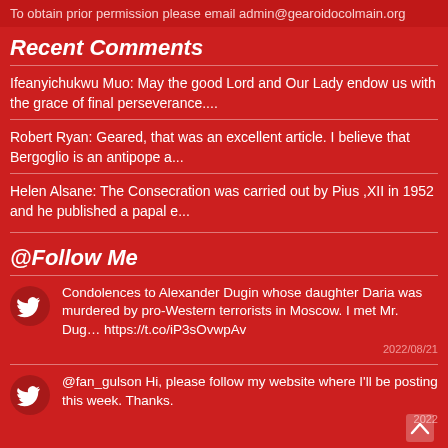To obtain prior permission please email admin@gearoidocolmain.org
Recent Comments
Ifeanyichukwu Muo: May the good Lord and Our Lady endow us with the grace of final perseverance....
Robert Ryan: Geared, that was an excellent article. I believe that Bergoglio is an antipope a...
Helen Alsane: The Consecration was carried out by Pius ,XII in 1952 and he published a papal e...
@Follow Me
Condolences to Alexander Dugin whose daughter Daria was murdered by pro-Western terrorists in Moscow. I met Mr. Dug... https://t.co/iP3sOvwpAv 2022/08/21
@fan_gulson Hi, please follow my website where I'll be posting this week. Thanks. 2022